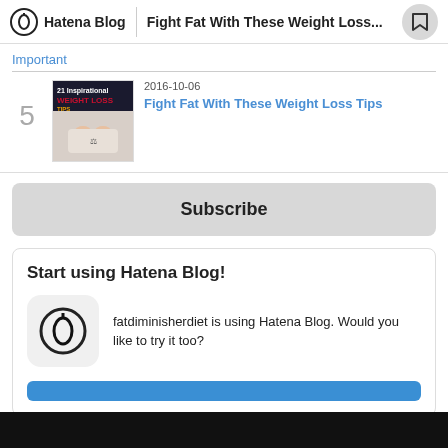Hatena Blog | Fight Fat With These Weight Loss...
Important
2016-10-06
Fight Fat With These Weight Loss Tips
Subscribe
Start using Hatena Blog!
fatdiminisherdiet is using Hatena Blog. Would you like to try it too?